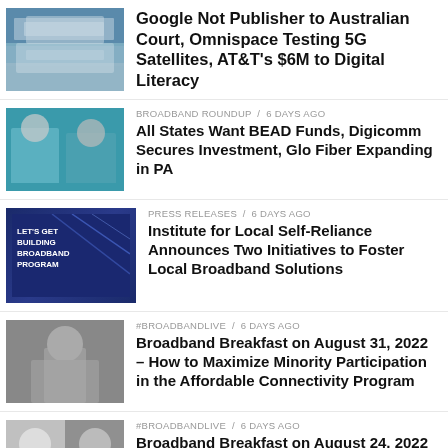[Figure (photo): Photo of a building with water in foreground, likely Australian Parliament House]
Google Not Publisher to Australian Court, Omnispace Testing 5G Satellites, AT&T's $6M to Digital Literacy
[Figure (photo): Two men in suits sitting, conference setting]
BROADBAND ROUNDUP / 6 days ago
All States Want BEAD Funds, Digicomm Secures Investment, Glo Fiber Expanding in PA
[Figure (photo): Dark blue graphic with text: LET'S GET BUILDING BROADBAND PROGRAM]
PRESS RELEASES / 6 days ago
Institute for Local Self-Reliance Announces Two Initiatives to Foster Local Broadband Solutions
[Figure (photo): Man speaking, gesturing with hand, wearing suit]
#BROADBANDLIVE / 6 days ago
Broadband Breakfast on August 31, 2022 – How to Maximize Minority Participation in the Affordable Connectivity Program
[Figure (photo): Two men side by side, smiling, wearing suits and ties]
#BROADBANDLIVE / 6 days ago
Broadband Breakfast on August 24, 2022 – Summer of Broadband: Illinois